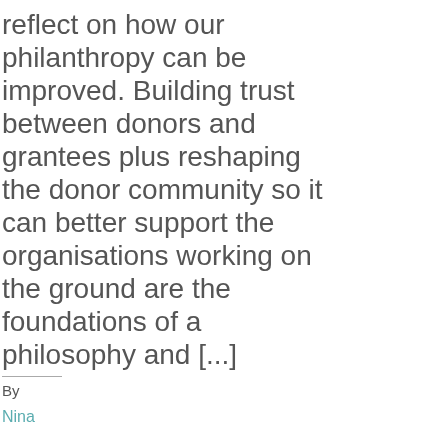reflect on how our philanthropy can be improved. Building trust between donors and grantees plus reshaping the donor community so it can better support the organisations working on the ground are the foundations of a philosophy and [...]
By
Nina